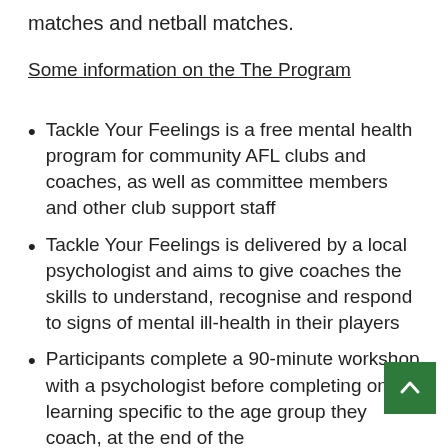matches and netball matches.
Some information on the The Program
Tackle Your Feelings is a free mental health program for community AFL clubs and coaches, as well as committee members and other club support staff
Tackle Your Feelings is delivered by a local psychologist and aims to give coaches the skills to understand, recognise and respond to signs of mental ill-health in their players
Participants complete a 90-minute workshop with a psychologist before completing online learning specific to the age group they coach, at the end of the